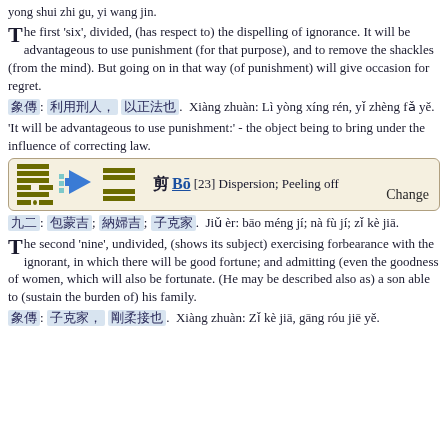yong shui zhi gu, yi wang jin.
The first 'six', divided, (has respect to) the dispelling of ignorance. It will be advantageous to use punishment (for that purpose), and to remove the shackles (from the mind). But going on in that way (of punishment) will give occasion for regret.
象傳: 利用刑人，以正法也。 Xiàng zhuàn: Lì yòng xíng rén, yǐ zhèng fǎ yě.
'It will be advantageous to use punishment:' - the object being to bring under the influence of correcting law.
[Figure (other): Hexagram change diagram showing two I-Ching hexagram symbols with an arrow between them, and text: 剝 Bō [23] Dispersion; Peeling off. Label: Change.]
九二: 包蒙吉；納婦吉；子克家。 Jiǔ èr: bāo méng jí; nà fù jí; zǐ kè jiā.
The second 'nine', undivided, (shows its subject) exercising forbearance with the ignorant, in which there will be good fortune; and admitting (even the goodness of women, which will also be fortunate. (He may be described also as) a son able to (sustain the burden of) his family.
象傳: 子克家，剛柔接也。 Xiàng zhuàn: Zǐ kè jiā, gāng róu jiē yě.